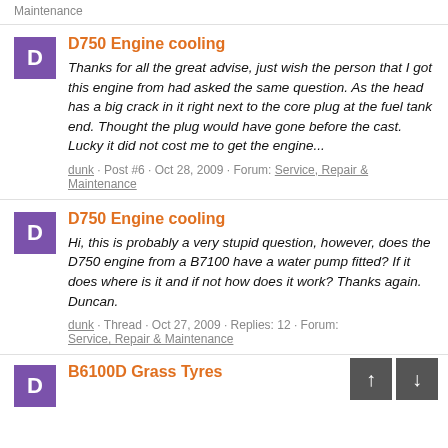Maintenance
D750 Engine cooling
Thanks for all the great advise, just wish the person that I got this engine from had asked the same question. As the head has a big crack in it right next to the core plug at the fuel tank end. Thought the plug would have gone before the cast. Lucky it did not cost me to get the engine...
dunk · Post #6 · Oct 28, 2009 · Forum: Service, Repair & Maintenance
D750 Engine cooling
Hi, this is probably a very stupid question, however, does the D750 engine from a B7100 have a water pump fitted? If it does where is it and if not how does it work? Thanks again. Duncan.
dunk · Thread · Oct 27, 2009 · Replies: 12 · Forum: Service, Repair & Maintenance
B6100D Grass Tyres